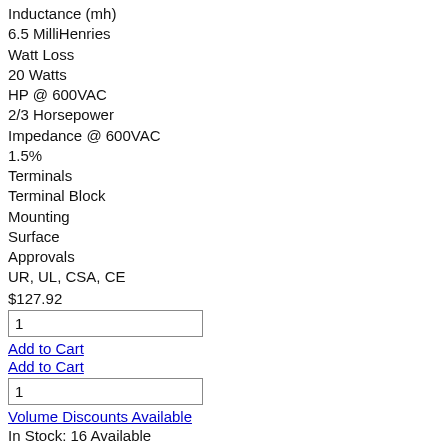Inductance (mh)
6.5 MilliHenries
Watt Loss
20 Watts
HP @ 600VAC
2/3 Horsepower
Impedance @ 600VAC
1.5%
Terminals
Terminal Block
Mounting
Surface
Approvals
UR, UL, CSA, CE
$127.92
1
Add to Cart
Add to Cart
1
Volume Discounts Available
In Stock: 16 Available
Get an Instant Quote
Ground orders before 5:00 PM ET ship within 24 hours!
MTE Line Reactors, RL Series